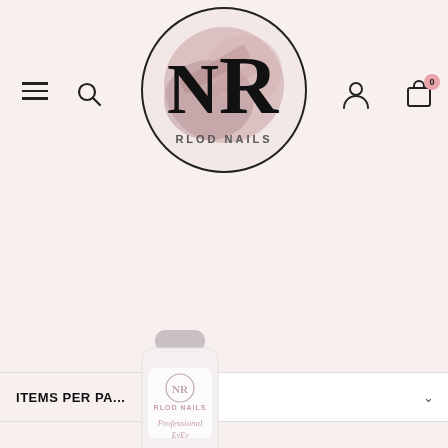[Figure (logo): RLOD NAILS circular logo with stylized NR monogram on a pink/rose watercolor background]
ITEMS PER PA...
24
SORT BY
Featured
[Figure (photo): White cylindrical nail product bottle with gray cap, labeled 'RLOD NAILS Professional' with the brand logo]